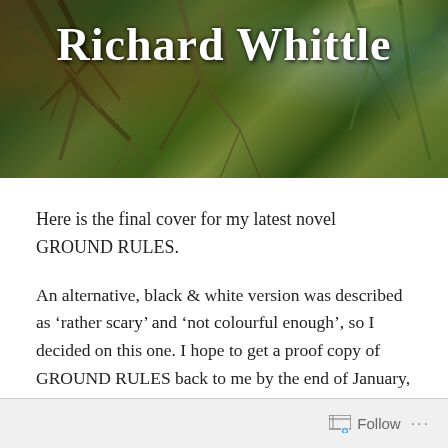[Figure (photo): Website header banner showing a nature/woodland background with branches and foliage in dark greens and browns. The author name 'Richard Whittle' is displayed in large white bold serif font across the top.]
Here is the final cover for my latest novel GROUND RULES.
An alternative, black & white version was described as 'rather scary' and 'not colourful enough', so I decided on this one. I hope to get a proof copy of GROUND RULES back to me by the end of January, so hopefully a paperback will be in print (and also a Kindle version) during February.
Follow ...